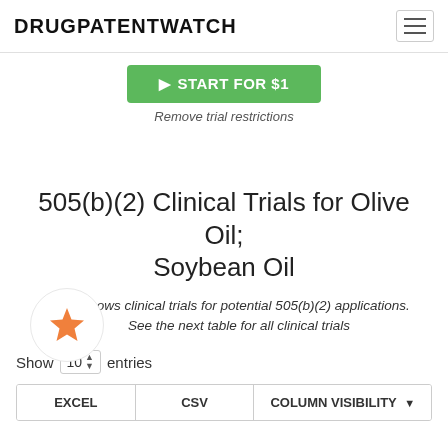DRUGPATENTWATCH
▶ START FOR $1
Remove trial restrictions
505(b)(2) Clinical Trials for Olive Oil; Soybean Oil
le shows clinical trials for potential 505(b)(2) applications. See the next table for all clinical trials
Show 10 entries
EXCEL  CSV  COLUMN VISIBILITY ▼